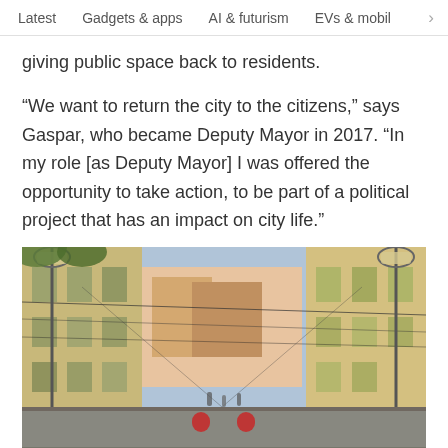Latest   Gadgets & apps   AI & futurism   EVs & mobil >
giving public space back to residents.
“We want to return the city to the citizens,” says Gaspar, who became Deputy Mayor in 2017. “In my role [as Deputy Mayor] I was offered the opportunity to take action, to be part of a political project that has an impact on city life.”
[Figure (photo): A narrow street in Lisbon, Portugal with colorful buildings on both sides, street lamps, overhead wires, and pedestrians visible in the distance.]